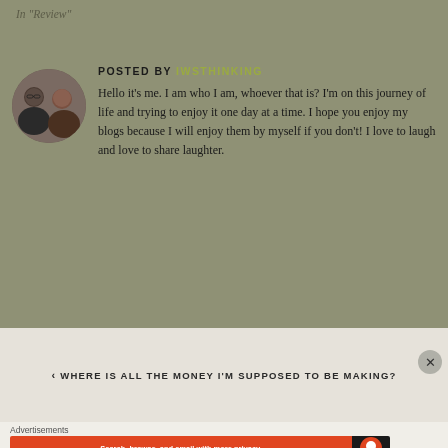In "Review"
POSTED BY IWSTHINKING
[Figure (photo): Circular avatar showing two women, one in a dark blazer and one smiling]
Hello it's me. I am who I am, whoever that is? I'm on this journey of life and trying to enjoy it one day at a time. I hope you enjoy my blogs because I will enjoy them by myself if you don't! I love to laugh and love to share laughter.
‹ WHERE IS ALL THE MONEY I'M SUPPOSED TO BE MAKING?
Advertisements
[Figure (screenshot): DuckDuckGo advertisement banner: 'Search, browse, and email with more privacy. All in One Free App' with DuckDuckGo logo on orange/dark background]